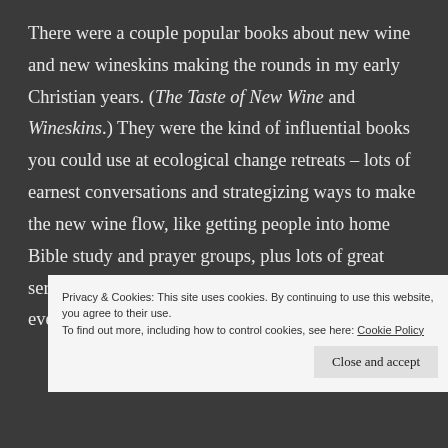There were a couple popular books about new wine and new wineskins making the rounds in my early Christian years. (The Taste of New Wine and Wineskins.) They were the kind of influential books you could use at ecological change retreats – lots of earnest conversations and strategizing ways to make the new wine flow, like getting people into home Bible study and prayer groups, plus lots of great sermon moments about how very Gospely everything was going to be.
Privacy & Cookies: This site uses cookies. By continuing to use this website, you agree to their use. To find out more, including how to control cookies, see here: Cookie Policy
Close and accept